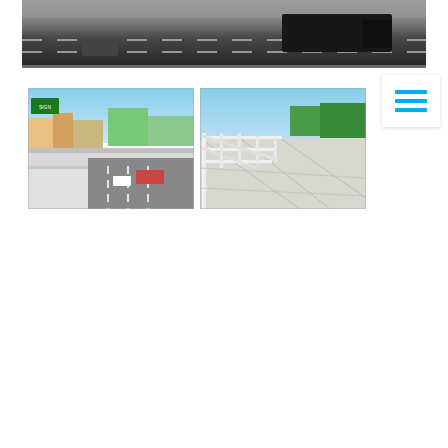[Figure (photo): Aerial view of a highway with a truck and cars moving at high speed, dark asphalt with white lane markings, motion blur effect]
[Figure (photo): Elevated view of a freeway interchange showing a bridge overpass, green highway signs, concrete walls, and multiple lanes of traffic with cars and trucks]
[Figure (photo): Aerial view of a highway bridge deck with white metal railing/fence structure, concrete road surface, and distant shipping containers and urban landscape]